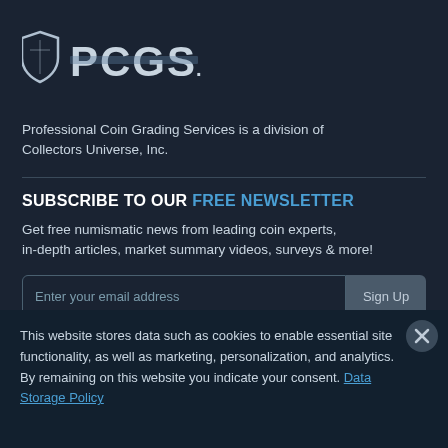[Figure (logo): PCGS logo with shield icon and PCGS text]
Professional Coin Grading Services is a division of Collectors Universe, Inc.
SUBSCRIBE TO OUR FREE NEWSLETTER
Get free numismatic news from leading coin experts, in-depth articles, market summary videos, surveys & more!
Enter your email address
This website stores data such as cookies to enable essential site functionality, as well as marketing, personalization, and analytics. By remaining on this website you indicate your consent. Data Storage Policy